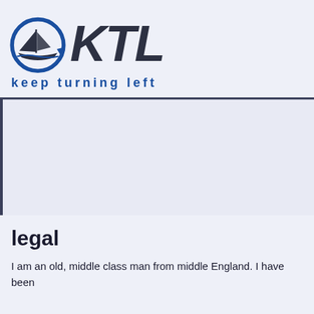[Figure (logo): KTL (keep turning left) logo with a sailing boat inside a circular arrow graphic, and bold italic KTL text]
legal
I am an old, middle class man from middle England. I have been